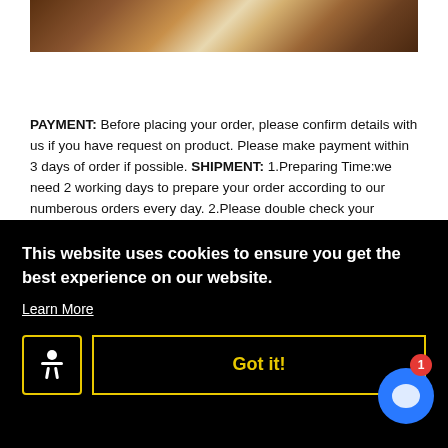[Figure (photo): Close-up product image of a leather belt or accessory with brown and metallic tones]
PAYMENT: Before placing your order, please confirm details with us if you have request on product. Please make payment within 3 days of order if possible. SHIPMENT: 1.Preparing Time:we need 2 working days to prepare your order according to our numberous orders every day. 2.Please double check your address when you write in aliexpress, if you want change before we ship them out, please notice us the new address. 3.We apologize that P.O. Boxes and military addresses (APO, FPO) cannot be delivered. NOTE: If [partially obscured] ...ectly ...cal ...your ...diately ...is is ...s ...
This website uses cookies to ensure you get the best experience on our website.
Learn More
Got it!